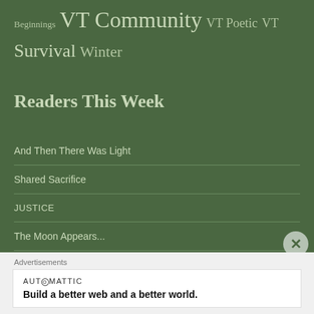Beginnings VT Community VT Poetic VT Survival Winter
Readers This Week
And Then There Was Light
Shared Sacrifice
JUSTICE
The Moon Appears...
Advertisements
[Figure (logo): Automattic logo with tagline: Build a better web and a better world.]